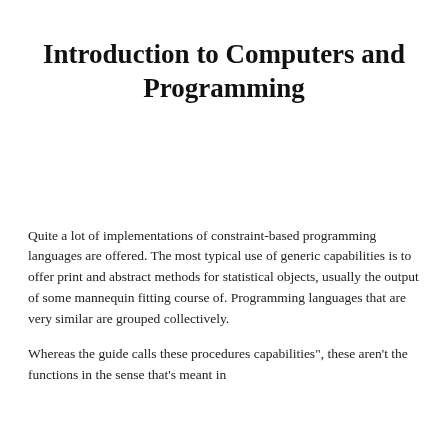Introduction to Computers and Programming
Quite a lot of implementations of constraint-based programming languages are offered. The most typical use of generic capabilities is to offer print and abstract methods for statistical objects, usually the output of some mannequin fitting course of. Programming languages that are very similar are grouped collectively.
Whereas the guide calls these procedures capabilities", these aren't the functions in the sense that's meant in